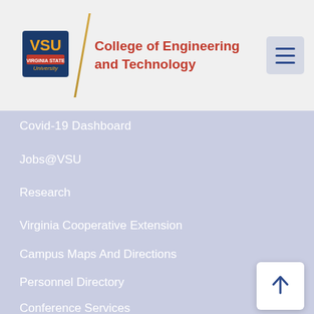[Figure (logo): Virginia State University VSU logo with orange and navy shield design]
College of Engineering and Technology
Covid-19 Dashboard
Jobs@VSU
Research
Virginia Cooperative Extension
Campus Maps And Directions
Personnel Directory
Conference Services
STAY CONNECTED
Social Media Directory
RAVE Emergency Alert System